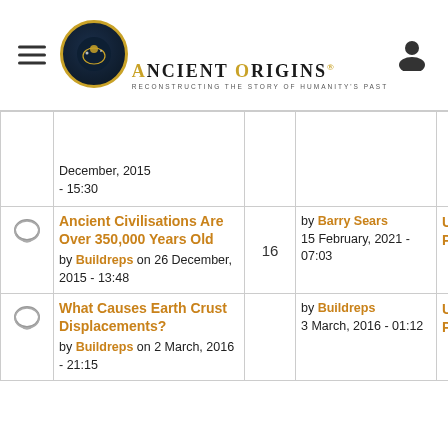Ancient Origins — Reconstructing the story of humanity's past
|  | Article | Comments | Last Comment | Category |
| --- | --- | --- | --- | --- |
|  | December, 2015 - 15:30 |  |  |  |
| [comment icon] | Ancient Civilisations Are Over 350,000 Years Old
by Buildreps on 26 December, 2015 - 13:48 | 16 | by Barry Sears
15 February, 2021 - 07:03 | Unexplained Phenomena |
| [comment icon] | What Causes Earth Crust Displacements?
by Buildreps on 2 March, 2016 - 21:15 |  | by Buildreps
3 March, 2016 - 01:12 | Unexplained Phenomena |